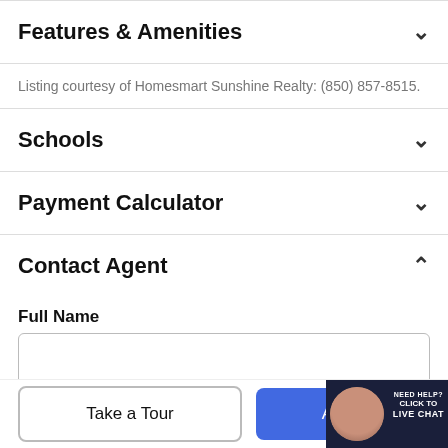Features & Amenities
Listing courtesy of Homesmart Sunshine Realty: (850) 857-8515.
Schools
Payment Calculator
Contact Agent
Full Name
Take a Tour
Ask A Q
[Figure (screenshot): Live chat widget with agent avatar and 'NEED HELP? CLICK TO LIVE CHAT' text on dark navy background]